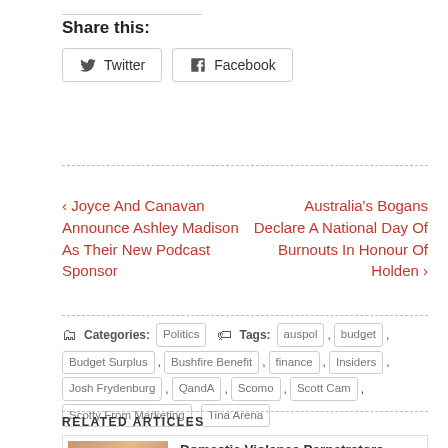Share this:
Twitter   Facebook
‹ Joyce And Canavan Announce Ashley Madison As Their New Podcast Sponsor
Australia's Bogans Declare A National Day Of Burnouts In Honour Of Holden ›
Categories: Politics   Tags: auspol , budget , Budget Surplus , Bushfire Benefit , finance , Insiders , Josh Frydenburg , QandA , Scomo , Scott Cam , Scotty From Marketing , Tina Arena
RELATED ARTICLES
Domestic Violence Perpetrators Name Andrew Bolt Their Man Of The Y...